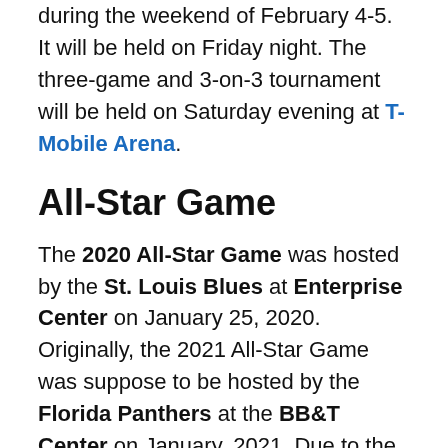during the weekend of February 4-5. It will be held on Friday night. The three-game and 3-on-3 tournament will be held on Saturday evening at T-Mobile Arena.
All-Star Game
The 2020 All-Star Game was hosted by the St. Louis Blues at Enterprise Center on January 25, 2020. Originally, the 2021 All-Star Game was suppose to be hosted by the Florida Panthers at the BB&T Center on January, 2021. Due to the COVID-19 pandemic stopping the 2019-2020 season and postponing the next season, it was cancelled. The league was pondering about changing the All-Star Game's format to an international setup, imitating the World Cup of Hockey.